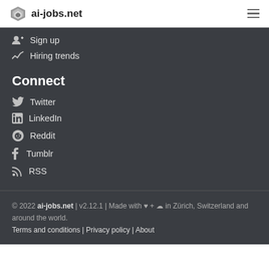ai-jobs.net
Sign up
Hiring trends
Connect
Twitter
LinkedIn
Reddit
Tumblr
RSS
© 2022 ai-jobs.net | v2.12.1 | Made with ♥ + ☁ in Zürich, Switzerland and around the world. Terms and conditions | Privacy policy | About